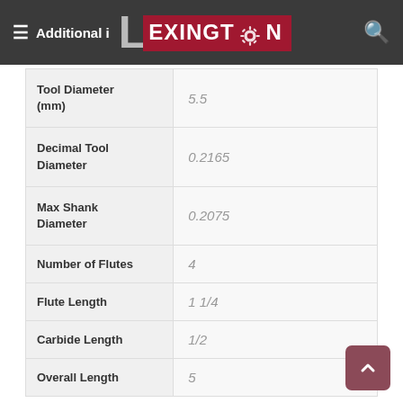Additional i LEXINGTON
| Property | Value |
| --- | --- |
| Tool Diameter (mm) | 5.5 |
| Decimal Tool Diameter | 0.2165 |
| Max Shank Diameter | 0.2075 |
| Number of Flutes | 4 |
| Flute Length | 1 1/4 |
| Carbide Length | 1/2 |
| Overall Length | 5 |